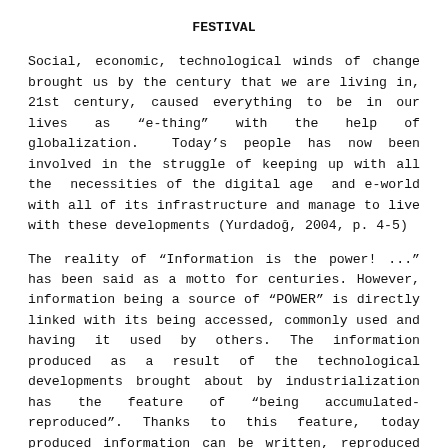FESTIVAL
Social, economic, technological winds of change brought us by the century that we are living in, 21st century, caused everything to be in our lives as “e-thing” with the help of globalization.  Today’s people has now been involved in the struggle of keeping up with all the  necessities of the digital age  and e-world with all of its infrastructure and manage to live with these developments (Yurdadoğ, 2004, p. 4-5)
The reality of “Information is the power! ...” has been said as a motto for centuries. However, information being a source of “POWER” is directly linked with its being accessed, commonly used and having it used by others. The information produced as a result of the technological developments brought about by industrialization has the feature of "being accumulated-reproduced". Thanks to this feature, today produced information can be written, reproduced and accumulated (Kongar, 1997, p.25)
The society foreseen by the digital age, share and get this new environment, that is “all kinds of activity” via the internet with their e-life style.
In this context, it is a fact that all the cities of our World have